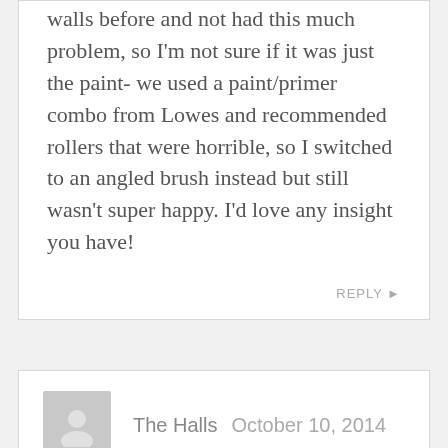walls before and not had this much problem, so I'm not sure if it was just the paint- we used a paint/primer combo from Lowes and recommended rollers that were horrible, so I switched to an angled brush instead but still wasn't super happy. I'd love any insight you have!
REPLY ▶
The Halls  October 10, 2014